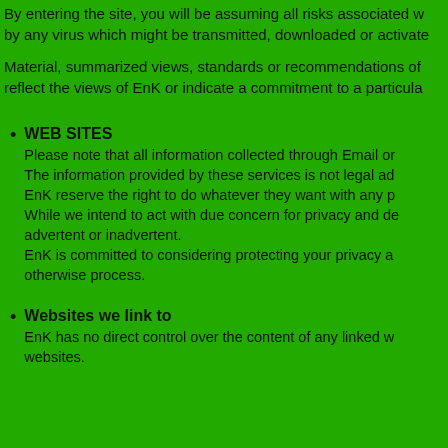By entering the site, you will be assuming all risks associated w... by any virus which might be transmitted, downloaded or activate...
Material, summarized views, standards or recommendations of ... reflect the views of EnK or indicate a commitment to a particula...
WEB SITES
Please note that all information collected through Email or... The information provided by these services is not legal ad... EnK reserve the right to do whatever they want with any p... While we intend to act with due concern for privacy and de... advertent or inadvertent.
EnK is committed to considering protecting your privacy a... otherwise process.
Websites we link to
EnK has no direct control over the content of any linked w... websites.